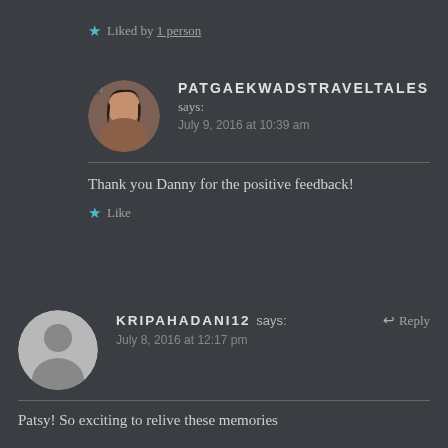★ Liked by 1 person
PATGAEKWADSTRAVELTALES says: July 9, 2016 at 10:39 am
Thank you Danny for the positive feedback!
★ Like
KRIPAHADANI2 says: July 8, 2016 at 12:17 pm ↩ Reply
Patsy! So exciting to relive these memories